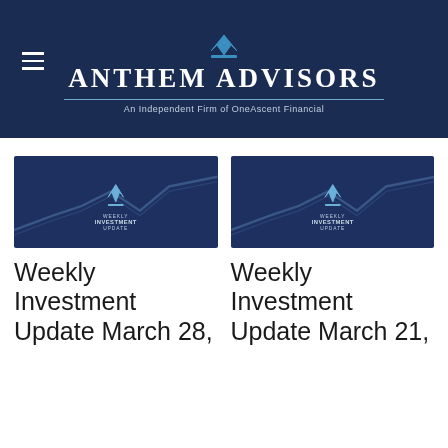Anthem Advisors — An Independent Firm of OneAscent Financial
[Figure (illustration): Weekly Investment Update thumbnail — dark navy background with crown logo and chart lines]
Weekly Investment Update March 28,
[Figure (illustration): Weekly Investment Update thumbnail — dark navy background with crown logo and chart lines]
Weekly Investment Update March 21,